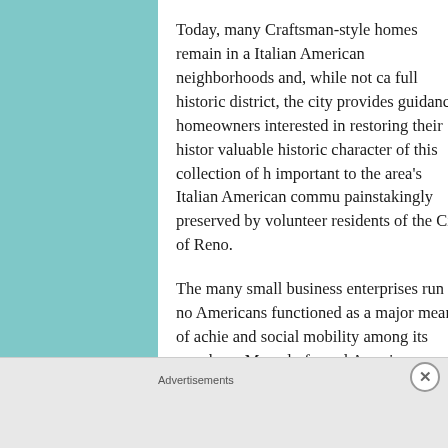Today, many Craftsman-style homes remain in a Italian American neighborhoods and, while not ca full historic district, the city provides guidance homeowners interested in restoring their histor valuable historic character of this collection of h important to the area's Italian American commu painstakingly preserved by volunteer residents of the City of Reno.
The many small business enterprises run by no Americans functioned as a major means of achie and social mobility among its members. Many lo formal American education, saw the formation o restaurants and other enterprises as an accessib social success for both themselves and their far most popular businesses, past and present,
Advertisements